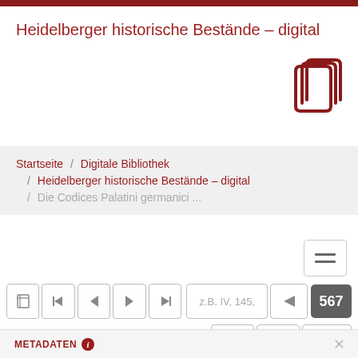Heidelberger historische Bestände – digital
[Figure (logo): Stylized book/pages logo in dark red color]
Startseite / Digitale Bibliothek / Heidelberger historische Bestände – digital / Die Codices Palatini germanici ...
[Figure (screenshot): Navigation toolbar with hamburger menu, navigation buttons (prev/first/back/forward/last), page input field showing 'z.B. IV, 145,', share button, page number badge showing 567, pin, email, and download action buttons]
METADATEN